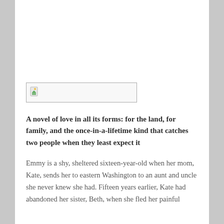[Figure (illustration): A broken/missing image placeholder with a small image icon (document with green leaf) in the top-left corner, displayed as a rectangular box with a border.]
A novel of love in all its forms: for the land, for family, and the once-in-a-lifetime kind that catches two people when they least expect it
Emmy is a shy, sheltered sixteen-year-old when her mom, Kate, sends her to eastern Washington to an aunt and uncle she never knew she had. Fifteen years earlier, Kate had abandoned her sister, Beth, when she fled her painful